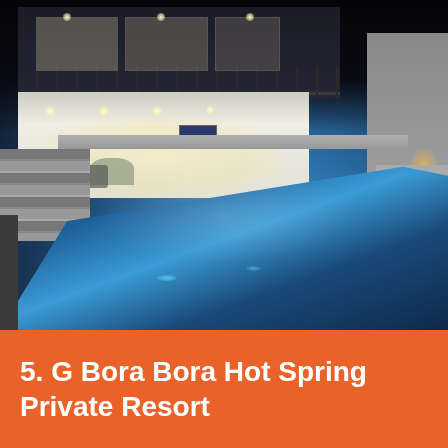[Figure (photo): Night photo of a modern multi-story resort with illuminated interiors, balconies with metal railings, recessed ceiling lights, outdoor lounge area with chairs and plants, concrete steps, and a large rectangular swimming pool with blue-lit water in the foreground.]
5. G Bora Bora Hot Spring Private Resort